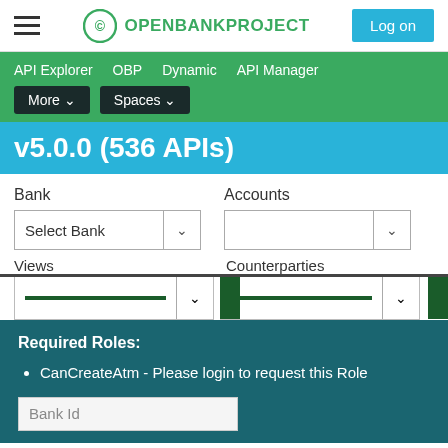OPENBANKPROJECT  Log on
API Explorer  OBP  Dynamic  API Manager  More ▾  Spaces ▾
v5.0.0 (536 APIs)
Bank    Accounts
Select Bank
Views    Counterparties
Required Roles:
CanCreateAtm - Please login to request this Role
Bank Id